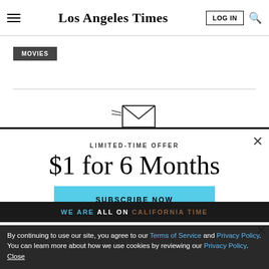Los Angeles Times
MOVIES
LIMITED-TIME OFFER
$1 for 6 Months
SUBSCRIBE NOW
By continuing to use our site, you agree to our Terms of Service and Privacy Policy. You can learn more about how we use cookies by reviewing our Privacy Policy. Close